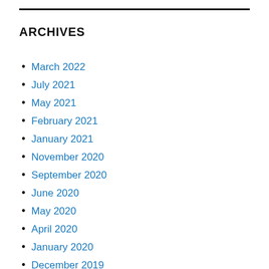ARCHIVES
March 2022
July 2021
May 2021
February 2021
January 2021
November 2020
September 2020
June 2020
May 2020
April 2020
January 2020
December 2019
November 2019